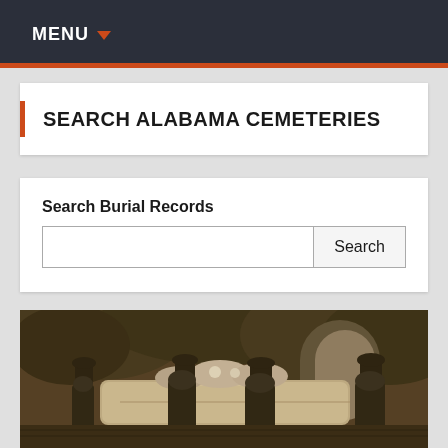MENU
SEARCH ALABAMA CEMETERIES
Search Burial Records
[Figure (photo): Black and white historical photograph showing men in top hats and dark coats standing around a white casket adorned with flowers, in an outdoor cemetery or garden setting with foliage in the background.]